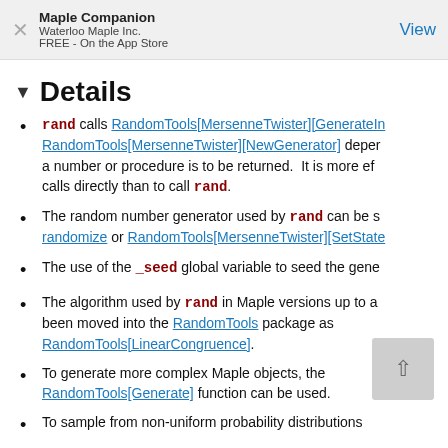Maple Companion
Waterloo Maple Inc.
FREE - On the App Store
▼ Details
rand calls RandomTools[MersenneTwister][GenerateIn... RandomTools[MersenneTwister][NewGenerator] depending on whether a number or procedure is to be returned. It is more efficient to call these calls directly than to call rand.
The random number generator used by rand can be set using randomize or RandomTools[MersenneTwister][SetState...
The use of the _seed global variable to seed the generator...
The algorithm used by rand in Maple versions up to ... has been moved into the RandomTools package as RandomTools[LinearCongruence].
To generate more complex Maple objects, the RandomTools[Generate] function can be used.
To sample from non-uniform probability distributions...